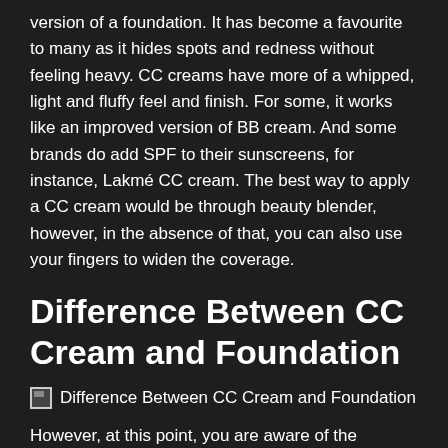version of a foundation. It has become a favourite to many as it hides spots and redness without feeling heavy. CC creams have more of a whipped, light and fluffy feel and finish. For some, it works like an improved version of BB cream. And some brands do add SPF to their sunscreens, for instance, Lakmé CC cream. The best way to apply a CC cream would be through beauty blender, however, in the absence of that, you can also use your fingers to widen the coverage.
Difference Between CC Cream and Foundation
[Figure (photo): Broken image placeholder labeled 'Difference Between CC Cream and Foundation']
However, at this point, you are aware of the consequences of ditching your foundation, you may not know how much